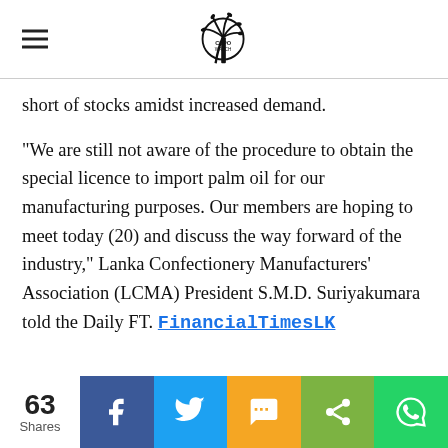CSPO Watch (logo)
short of stocks amidst increased demand.
“We are still not aware of the procedure to obtain the special licence to import palm oil for our manufacturing purposes. Our members are hoping to meet today (20) and discuss the way forward of the industry,” Lanka Confectionery Manufacturers’ Association (LCMA) President S.M.D. Suriyakumara told the Daily FT. FinancialTimesLK
63 Shares | Facebook | Twitter | SMS | Share | WhatsApp